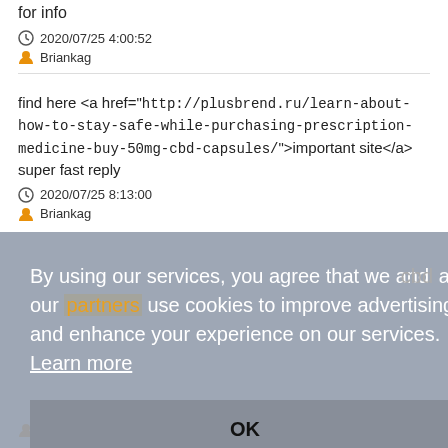for info
2020/07/25 4:00:52
Briankag
find here <a href="http://plusbrend.ru/learn-about-how-to-stay-safe-while-purchasing-prescription-medicine-buy-50mg-cbd-capsules/">important site</a> super fast reply
2020/07/25 8:13:00
Briankag
By using our services, you agree that we and our partners use cookies to improve advertising and enhance your experience on our services. Learn more
OK
Briankag